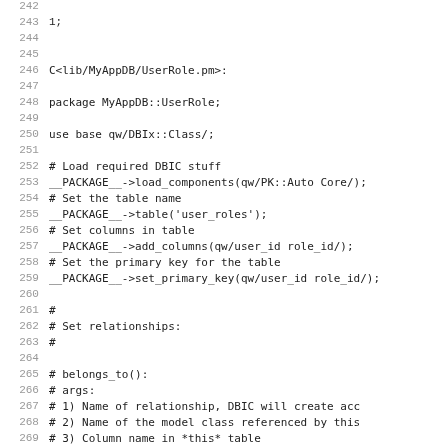Code listing lines 242-274 showing Perl DBIx::Class module MyAppDB::UserRole